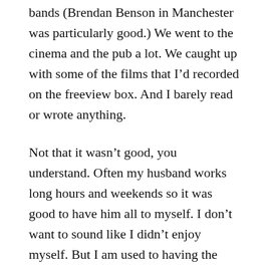bands (Brendan Benson in Manchester was particularly good.) We went to the cinema and the pub a lot. We caught up with some of the films that I'd recorded on the freeview box. And I barely read or wrote anything.
Not that it wasn't good, you understand. Often my husband works long hours and weekends so it was good to have him all to myself. I don't want to sound like I didn't enjoy myself. But I am used to having the summer to myself and being able to get on with whatever I want to do.
Still, he is back at work now and I have sorted the structure for Choose Yr Future and I can see what I still need to do and what needs to be removed. It is funny how storylines sometimes take on a life of their own